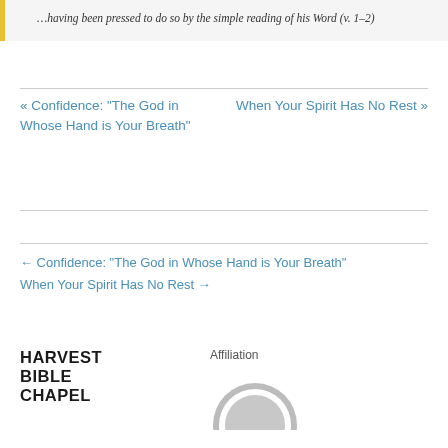…having been pressed to do so by the simple reading of his Word (v. 1–2)
« Confidence: “The God in Whose Hand is Your Breath”    When Your Spirit Has No Rest »
← Confidence: “The God in Whose Hand is Your Breath”
When Your Spirit Has No Rest →
[Figure (logo): Harvest Bible Chapel logo in bold black uppercase text]
Affiliation
[Figure (logo): ACRO affiliation logo, partially visible grey circular emblem]